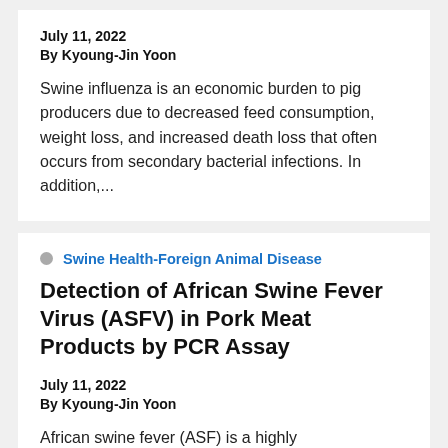July 11, 2022
By Kyoung-Jin Yoon
Swine influenza is an economic burden to pig producers due to decreased feed consumption, weight loss, and increased death loss that often occurs from secondary bacterial infections. In addition,...
Swine Health-Foreign Animal Disease
Detection of African Swine Fever Virus (ASFV) in Pork Meat Products by PCR Assay
July 11, 2022
By Kyoung-Jin Yoon
African swine fever (ASF) is a highly